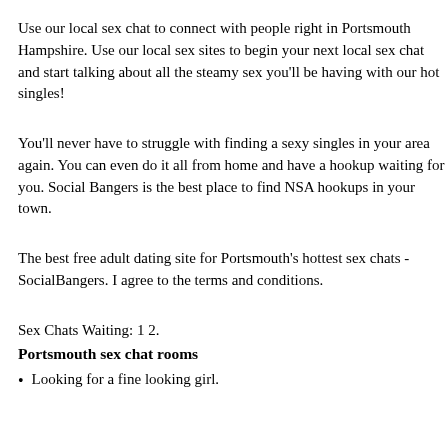Use our local sex chat to connect with people right in Portsmouth Hampshire. Use our local sex sites to begin your next local sex chat and start talking about all the steamy sex you'll be having with our hot singles!
You'll never have to struggle with finding a sexy singles in your area again. You can even do it all from home and have a hookup waiting for you. Social Bangers is the best place to find NSA hookups in your town.
The best free adult dating site for Portsmouth's hottest sex chats - SocialBangers. I agree to the terms and conditions.
Sex Chats Waiting: 1 2.
Portsmouth sex chat rooms
Looking for a fine looking girl.